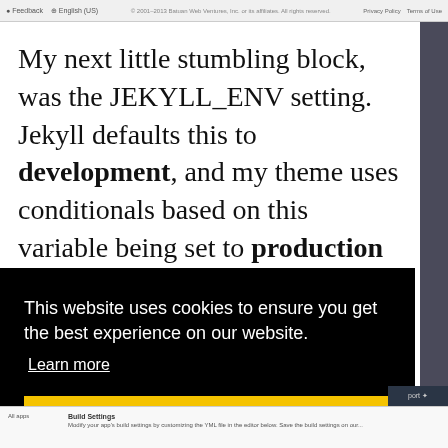Feedback  English (US)   © 2001–2013 Batuan Web Ventures, Inc. or its affiliates. All rights reserved.   Privacy Policy   Terms of Use
My next little stumbling block, was the JEKYLL_ENV setting. Jekyll defaults this to development, and my theme uses conditionals based on this variable being set to production to include elements I don't want to run locally, such as Google
This website uses cookies to ensure you get the best experience on our website.
Learn more
Got it!
All apps   Build Settings   Modify your app's build settings by customizing the YML file in the editor below. Save the build settings on our...